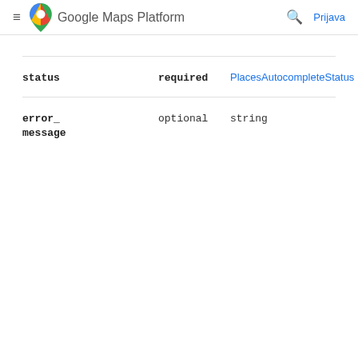Google Maps Platform  Prijava
| Field | Required/Optional | Type |
| --- | --- | --- |
| status | required | PlacesAutocompleteStatus |
| error_message | optional | string |